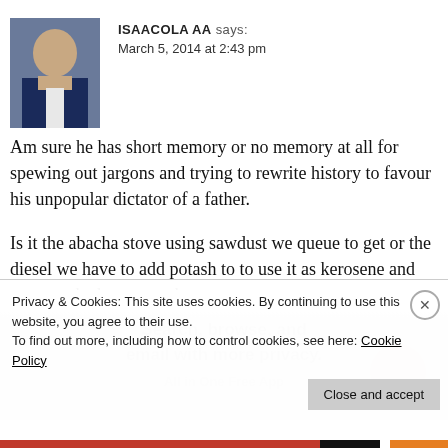ISAACOLA AA says:
March 5, 2014 at 2:43 pm
Am sure he has short memory or no memory at all for spewing out jargons and trying to rewrite history to favour his unpopular dictator of a father.
Is it the abacha stove using sawdust we queue to get or the diesel we have to add potash to to use it as kerosene and manage the heavy smoke.
Is it the palpable fear that can be felt or
Privacy & Cookies: This site uses cookies. By continuing to use this website, you agree to their use.
To find out more, including how to control cookies, see here: Cookie Policy
Close and accept